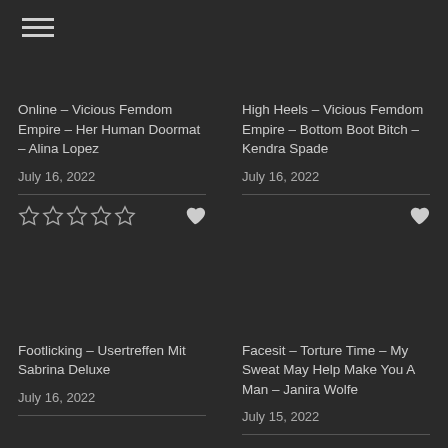☰ (hamburger menu icon)
Online – Vicious Femdom Empire – Her Human Doormat – Alina Lopez
July 16, 2022
High Heels – Vicious Femdom Empire – Bottom Boot Bitch – Kendra Spade
July 16, 2022
Footlicking – Usertreffen Mit Sabrina Deluxe
July 16, 2022
Facesit – Torture Time – My Sweat May Help Make You A Man – Janira Wolfe
July 15, 2022